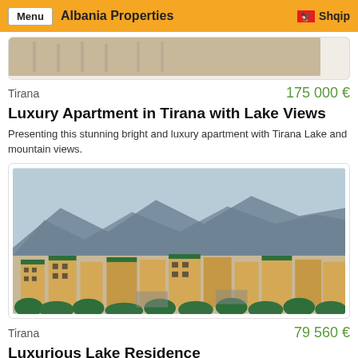Menu | Albania Properties | Shqip
[Figure (photo): Partial view of a property photo, cropped at top of page]
Tirana                                        175 000 €
Luxury Apartment in Tirana with Lake Views
Presenting this stunning bright and luxury apartment with Tirana Lake and mountain views.
[Figure (photo): Aerial view of Tirana city with orange/beige apartment buildings with green roofs, mountains in background, and trees in foreground]
Tirana                                        79 560 €
Luxurious Lake Residence
Top end luxurious gated development of apartments and